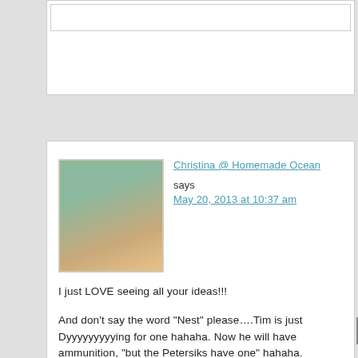Christina @ Homemade Ocean says
May 20, 2013 at 10:37 am
I just LOVE seeing all your ideas!!!
And don’t say the word “Nest” please….Tim is just Dyyyyyyyyying for one hahaha. Now he will have ammunition, “but the Petersiks have one” hahaha.
Reply